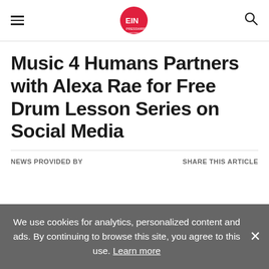EIN Presswire — Everyone's Internet News Presswire
Music 4 Humans Partners with Alexa Rae for Free Drum Lesson Series on Social Media
NEWS PROVIDED BY
SHARE THIS ARTICLE
We use cookies for analytics, personalized content and ads. By continuing to browse this site, you agree to this use. Learn more